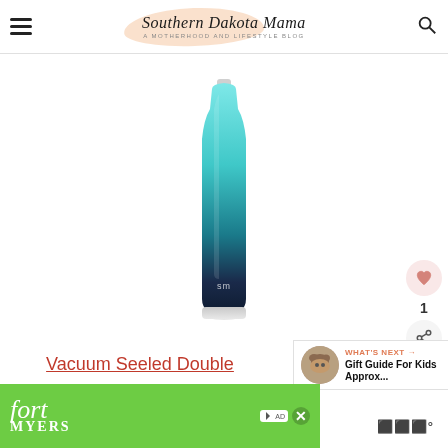Southern Dakota Mama — A Motherhood and Lifestyle Blog
[Figure (photo): A teal-to-navy ombre gradient stainless steel water bottle by Simple Modern (SM), with a metallic silver base, on a white background]
[Figure (infographic): Side action panel with heart/like button, count '1', and share button]
[Figure (infographic): What's Next widget showing a dog thumbnail and text 'Gift Guide For Kids Approx...']
Vacuum Seeled Double Insulated Stainless Steel...
[Figure (photo): Fort Myers advertisement banner in green with script logo and ad icons]